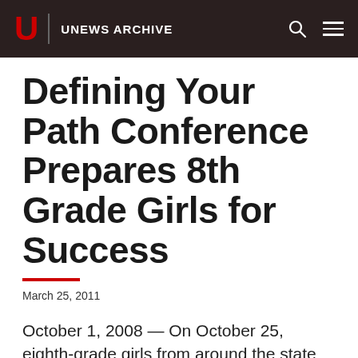U | UNEWS ARCHIVE
Defining Your Path Conference Prepares 8th Grade Girls for Success
March 25, 2011
October 1, 2008 — On October 25, eighth-grade girls from around the state will explore possible career